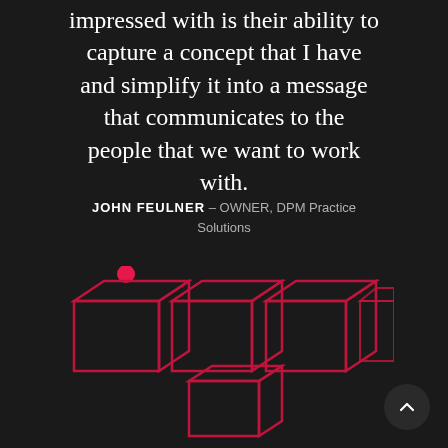impressed with is their ability to capture a concept that I have and simplify it into a message that communicates to the people that we want to work with.
JOHN FEULNER – OWNER, DPM Practice Solutions
[Figure (logo): Five red outlined 3D cubes arranged in a row of four with one below, and a red dot above the first cube on top — a logo/icon graphic on a dark background]
[Figure (other): Dark circular scroll-up button with a white chevron arrow pointing upward]